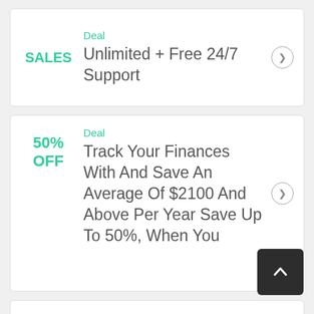Deal
SALES
Unlimited + Free 24/7 Support
Deal
50% OFF
Track Your Finances With And Save An Average Of $2100 And Above Per Year Save Up To 50%, When You
Deal